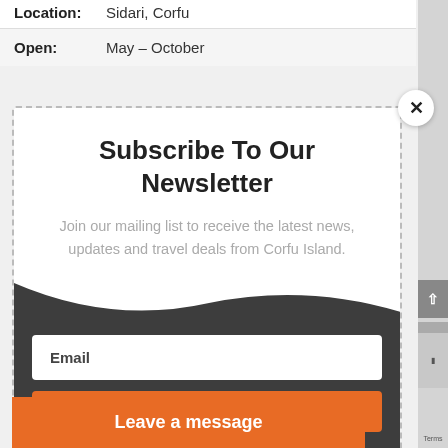Location: Sidari, Corfu
Open: May – October
Subscribe To Our Newsletter
Join our mailing list to receive the latest news, updates and travel deals from Corfu Island.
Email
SUBSCRIBE!
Leave a message
Terms